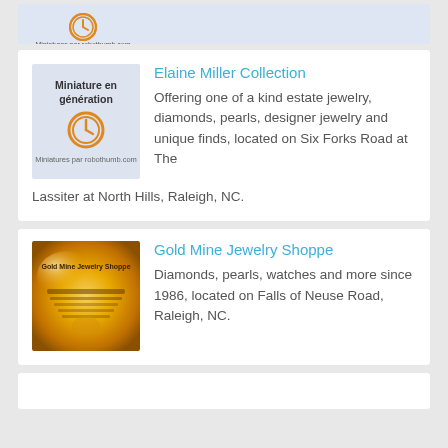[Figure (screenshot): Partial thumbnail at top showing robothumb.com placeholder with clock icon and text 'Miniatures par robothumb.com']
[Figure (screenshot): Thumbnail placeholder with light blue background showing 'Miniature en génération', orange clock icon, and 'Miniatures par robothumb.com']
Elaine Miller Collection
Offering one of a kind estate jewelry, diamonds, pearls, designer jewelry and unique finds, located on Six Forks Road at The Lassiter at North Hills, Raleigh, NC.
[Figure (screenshot): Golden glowing thumbnail image for Gold Mine Jewelry Shoppe with text overlay]
Gold Mine Jewelry Shoppe
Diamonds, pearls, watches and more since 1986, located on Falls of Neuse Road, Raleigh, NC.